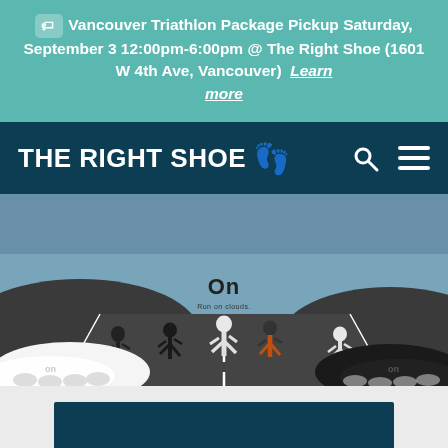Vancouver Triathlon Package Pickup Saturday, September 3 12:00pm-6:00pm @ The Right Shoe (1601 W 4th Ave, Vancouver)  Learn more
THE RIGHT SHOE
[Figure (photo): Hero image of multiple runners on a road by the ocean with large On brand shoes in the foreground left and right, and the On logo with 'Run on clouds.' text centered in the image.]